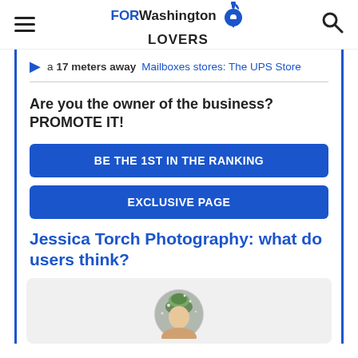FORWashington LOVERS
a 17 meters away Mailboxes stores: The UPS Store
Are you the owner of the business? PROMOTE IT!
BE THE 1ST IN THE RANKING
EXCLUSIVE PAGE
Jessica Torch Photography: what do users think?
[Figure (photo): User avatar photo showing a person wearing a green hat in a circular crop]